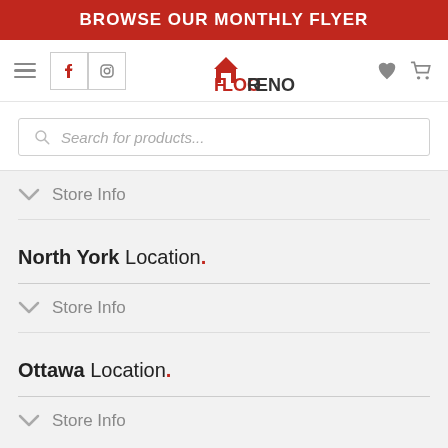BROWSE OUR MONTHLY FLYER
[Figure (logo): FlooReno Building Supplies logo with red house icon]
Search for products...
Store Info
North York Location.
Store Info
Ottawa Location.
Store Info